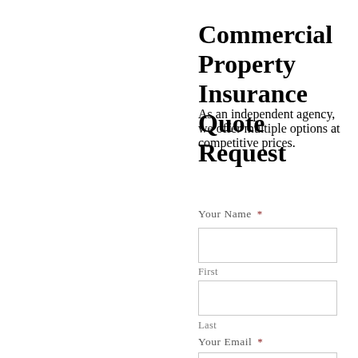Commercial Property Insurance Quote Request
As an independent agency, we offer multiple options at competitive prices.
Your Name *
First
Last
Your Email *